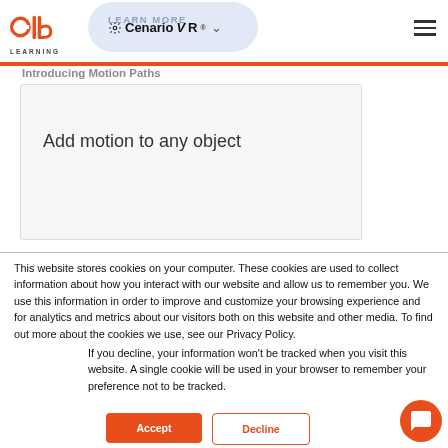ELB Learning — CenarioVR navigation header
Introducing Motion Paths
Add motion to any object
This website stores cookies on your computer. These cookies are used to collect information about how you interact with our website and allow us to remember you. We use this information in order to improve and customize your browsing experience and for analytics and metrics about our visitors both on this website and other media. To find out more about the cookies we use, see our Privacy Policy.
If you decline, your information won't be tracked when you visit this website. A single cookie will be used in your browser to remember your preference not to be tracked.